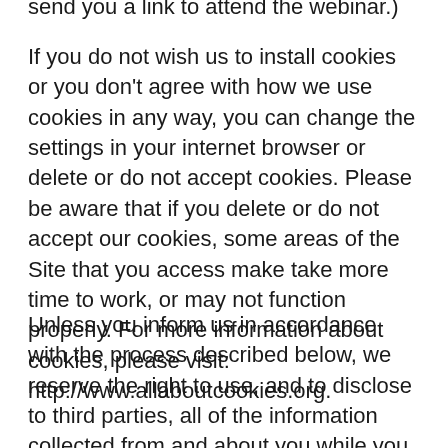send you a link to attend the webinar.)
If you do not wish us to install cookies or you don't agree with how we use cookies in any way, you can change the settings in your internet browser or delete or do not accept cookies. Please be aware that if you delete or do not accept our cookies, some areas of the Site that you access make take more time to work, or may not function properly. For more information about cookies, please visit: http://www.allaboutcookies.org.
Unless you inform us in accordance with the process described below, we reserve the right to use, and to disclose to third parties, all of the information collected from and about you while you are using the Site in any way and